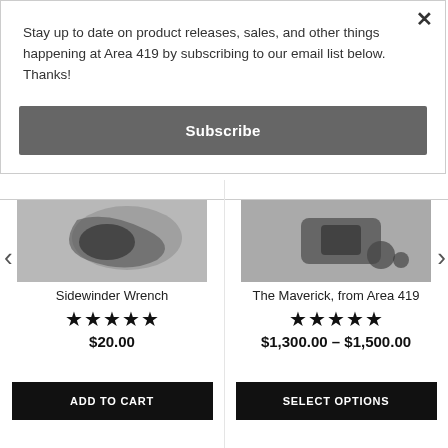Stay up to date on product releases, sales, and other things happening at Area 419 by subscribing to our email list below. Thanks!
Subscribe
[Figure (photo): Left product photo showing a black metal wrench/hook tool (Sidewinder Wrench)]
Sidewinder Wrench
★★★★★
$20.00
ADD TO CART
[Figure (photo): Right product photo showing metal muzzle device components (The Maverick, from Area 419)]
The Maverick, from Area 419
★★★★★
$1,300.00 – $1,500.00
SELECT OPTIONS